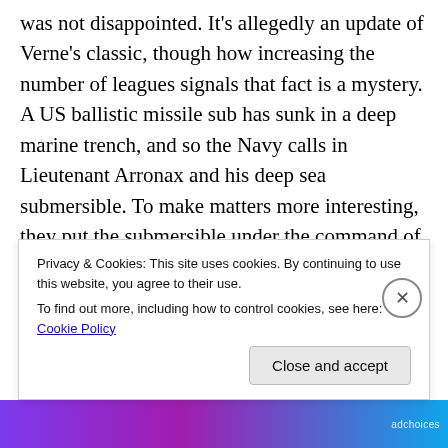was not disappointed. It's allegedly an update of Verne's classic, though how increasing the number of leagues signals that fact is a mystery. A US ballistic missile sub has sunk in a deep marine trench, and so the Navy calls in Lieutenant Arronax and his deep sea submersible. To make matters more interesting, they put the submersible under the command of Arronax's ex-wife, Lieutenant Commander Conciel. The submersible descends from the USS Abraham Lincoln (an Iowa-class battleship that can somehow manage 75 knots) to 20,000 feet, where the
Privacy & Cookies: This site uses cookies. By continuing to use this website, you agree to their use.
To find out more, including how to control cookies, see here: Cookie Policy
Close and accept